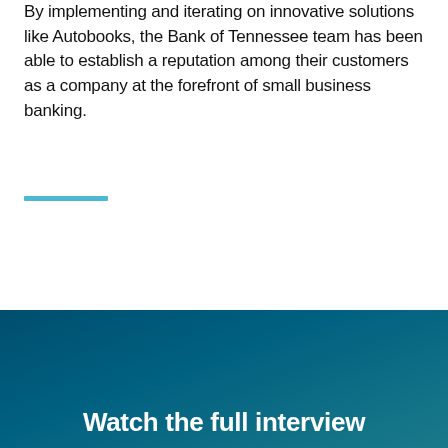By implementing and iterating on innovative solutions like Autobooks, the Bank of Tennessee team has been able to establish a reputation among their customers as a company at the forefront of small business banking.
Watch the full interview